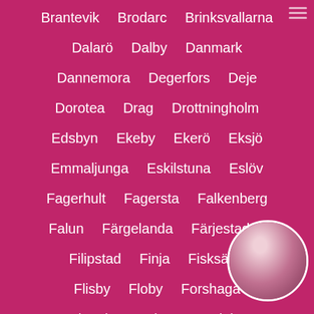Brantevik   Brodarc   Brinksvallarna
Dalarö   Dalby   Danmark
Dannemora   Degerfors   Deje
Dorotea   Drag   Drottningholm
Edsbyn   Ekeby   Ekerö   Eksjö
Emmaljunga   Eskilstuna   Eslöv
Fagerhult   Fagersta   Falkenberg
Falun   Färgelanda   Färjestaden
Filipstad   Finja   Fisksätra
Flisby   Floby   Forshaga
Fristad   Frövi   Funäsdalen
[Figure (photo): Circular avatar photo of a woman with dark hair, bottom-right corner of the page]